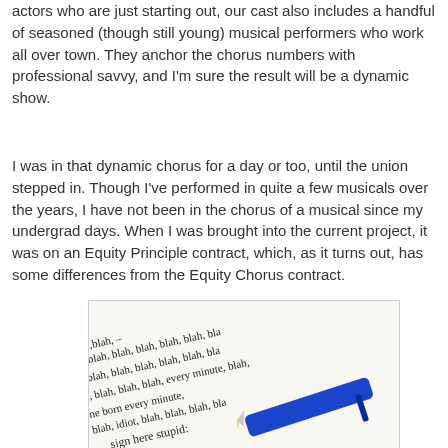actors who are just starting out, our cast also includes a handful of seasoned (though still young) musical performers who work all over town. They anchor the chorus numbers with professional savvy, and I'm sure the result will be a dynamic show.
I was in that dynamic chorus for a day or too, until the union stepped in. Though I've performed in quite a few musicals over the years, I have not been in the chorus of a musical since my undergrad days. When I was brought into the current project, it was on an Equity Principle contract, which, as it turns out, has some differences from the Equity Chorus contract.
[Figure (photo): A photo of a contract document with 'blah, blah, blah' repeated text and phrases like 'one born every minute', 'blah, idiot, blah', 'sign here stupid:' with an X mark, and a blue pen resting on the document.]